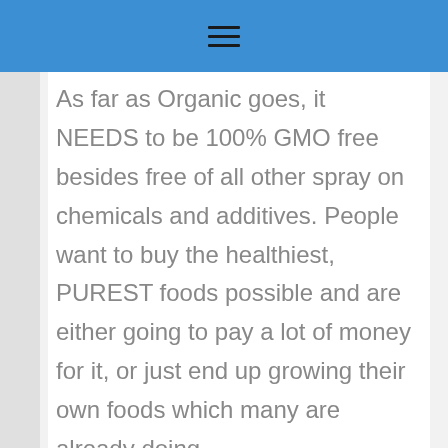≡
As far as Organic goes, it NEEDS to be 100% GMO free besides free of all other spray on chemicals and additives. People want to buy the healthiest, PUREST foods possible and are either going to pay a lot of money for it, or just end up growing their own foods which many are already doing.